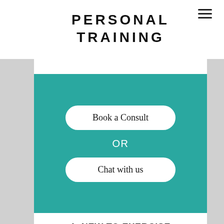≡
PERSONAL TRAINING
Book a Consult
OR
Chat with us
1. NEW TO EXERCISE
If you are new to exercise may feel limited in your abilities, teaming up with one of our PT's will help you feel more comfortable in a gym environment. If you only have a limited amount of time to work